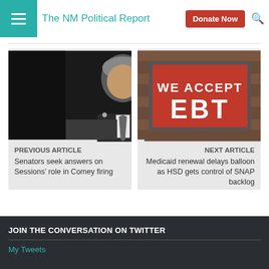The NM Political Report
[Figure (photo): Man in dark suit speaking at podium, previous article thumbnail]
PREVIOUS ARTICLE
Senators seek answers on Sessions' role in Comey firing
[Figure (photo): Sign reading WE ACCEPT EBT, next article thumbnail]
NEXT ARTICLE
Medicaid renewal delays balloon as HSD gets control of SNAP backlog
JOIN THE CONVERSATION ON TWITTER
My Tweets